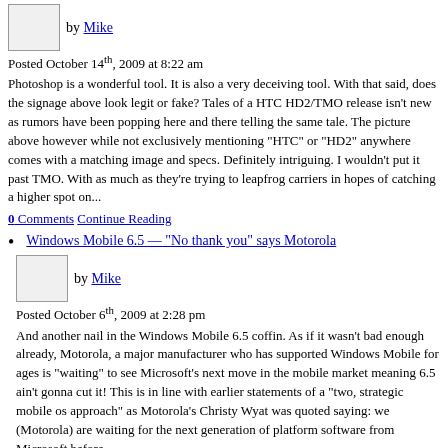by Mike
Posted October 14th, 2009 at 8:22 am
Photoshop is a wonderful tool. It is also a very deceiving tool. With that said, does the signage above look legit or fake? Tales of a HTC HD2/TMO release isn't new as rumors have been popping here and there telling the same tale. The picture above however while not exclusively mentioning "HTC" or "HD2" anywhere comes with a matching image and specs. Definitely intriguing. I wouldn't put it past TMO. With as much as they're trying to leapfrog carriers in hopes of catching a higher spot on...
0 Comments   Continue Reading
Windows Mobile 6.5 — "No thank you" says Motorola
by Mike
Posted October 6th, 2009 at 2:28 pm
And another nail in the Windows Mobile 6.5 coffin. As if it wasn't bad enough already, Motorola, a major manufacturer who has supported Windows Mobile for ages is "waiting" to see Microsoft's next move in the mobile market meaning 6.5 ain't gonna cut it! This is in line with earlier statements of a "two, strategic mobile os approach" as Motorola's Christy Wyat was quoted saying: we (Motorola) are waiting for the next generation of platform software from Microsoft before